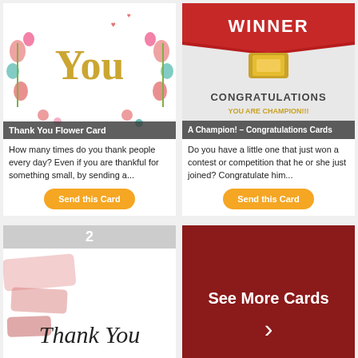[Figure (illustration): Thank You Flower Card – decorative card with gold 'You' text and colorful flowers]
Thank You Flower Card
How many times do you thank people every day? Even if you are thankful for something small, by sending a...
[Figure (illustration): Congratulations card with WINNER ribbon banner and trophy, text: CONGRATULATIONS YOU ARE CHAMPION!!!]
A Champion! – Congratulations Cards
Do you have a little one that just won a contest or competition that he or she just joined? Congratulate him...
[Figure (illustration): Thank You card with pink brushstroke design and cursive 'Thank You' text, numbered 2]
YOUR KIND WORDS AND LOVING THOUGHTS JUST MADE MY DAY AMAZING
[Figure (other): See More Cards button on dark red background with right arrow]